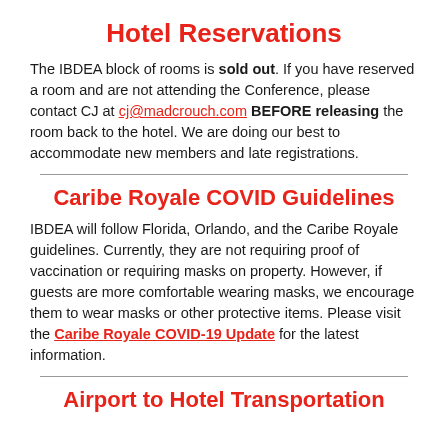Hotel Reservations
The IBDEA block of rooms is sold out. If you have reserved a room and are not attending the Conference, please contact CJ at cj@madcrouch.com BEFORE releasing the room back to the hotel. We are doing our best to accommodate new members and late registrations.
Caribe Royale COVID Guidelines
IBDEA will follow Florida, Orlando, and the Caribe Royale guidelines. Currently, they are not requiring proof of vaccination or requiring masks on property. However, if guests are more comfortable wearing masks, we encourage them to wear masks or other protective items. Please visit the Caribe Royale COVID-19 Update for the latest information.
Airport to Hotel Transportation